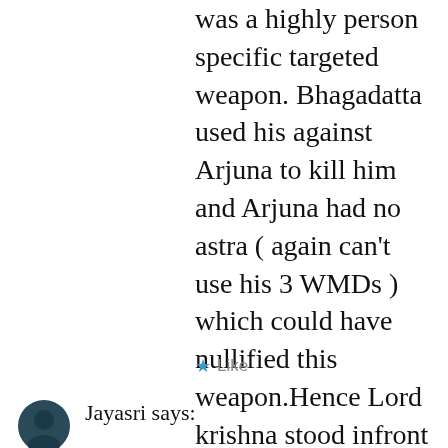was a highly person specific targeted weapon. Bhagadatta used his against Arjuna to kill him and Arjuna had no astra ( again can't use his 3 WMDs ) which could have nullified this weapon.Hence Lord krishna stood infront of the weapon to nullify its impact .
Like
Jayasri says: